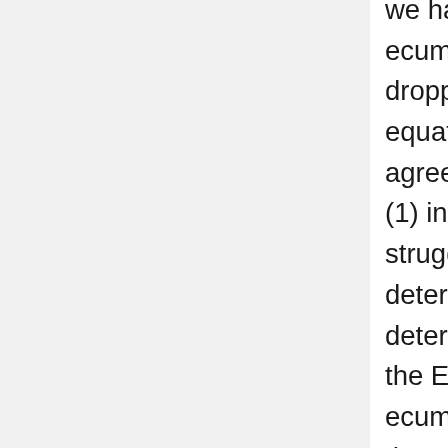we have unity. A pope can initiate ecumenical council. The East dropped primacy from the equation. IMHO (you don't have to agree with me) it is the reason why (1) in the East there is power struggle and tug of war to determine who is in charge to determine autocephaly and (2) why the East can never have ecumenical council for almost one thousand years after schism. Maybe for you it is not serious issue and you are entitled to think that way. I do not change the topic – what I